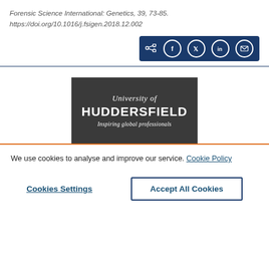Forensic Science International: Genetics, 39, 73-85.
https://doi.org/10.1016/j.fsigen.2018.12.002
[Figure (other): Social share bar with icons for share, Facebook, Twitter, LinkedIn, and email on dark blue background]
[Figure (logo): University of Huddersfield logo — dark grey box with text 'University of HUDDERSFIELD Inspiring global professionals']
We use cookies to analyse and improve our service. Cookie Policy
Cookies Settings
Accept All Cookies